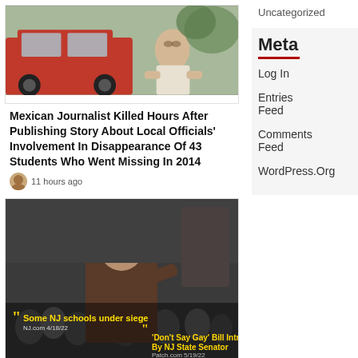[Figure (photo): Photo of a man near a red car, outdoors scene]
Mexican Journalist Killed Hours After Publishing Story About Local Officials' Involvement In Disappearance Of 43 Students Who Went Missing In 2014
11 hours ago
[Figure (photo): Black and white photo of a man speaking at a crowded public meeting, overlaid with news headlines: 'Some NJ schools under siege' (NJ.com 4/18/22) and 'Don't Say Gay' Bill Introduced By NJ State Senator (Patch.com 5/19/22)]
Teachers Union: Parents Who Resist
Uncategorized
Meta
Log In
Entries Feed
Comments Feed
WordPress.Org